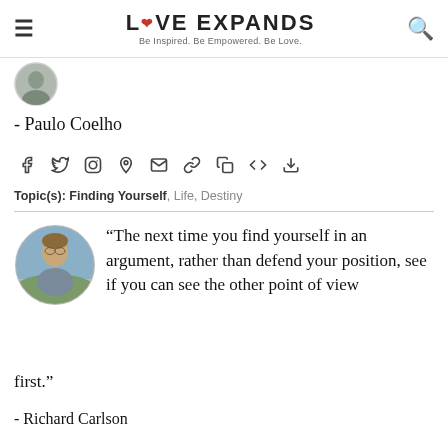LOVE EXPANDS — Be Inspired. Be Empowered. Be Love.
[Figure (photo): Small circular avatar photo, partially visible at top]
- Paulo Coelho
[Figure (infographic): Social sharing icons: Facebook, Twitter, Instagram, Pinterest, Email, Link, Copy, Code, Download]
Topic(s): Finding Yourself, Life, Destiny
[Figure (photo): Circular portrait photo of a man outdoors]
“The next time you find yourself in an argument, rather than defend your position, see if you can see the other point of view first.”
- Richard Carlson